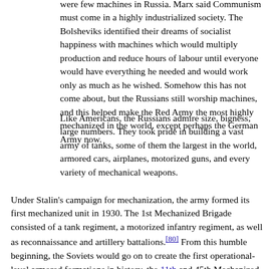were few machines in Russia. Marx said Communism must come in a highly industrialized society. The Bolsheviks identified their dreams of socialist happiness with machines which would multiply production and reduce hours of labour until everyone would have everything he needed and would work only as much as he wished. Somehow this has not come about, but the Russians still worship machines, and this helped make the Red Army the most highly mechanized in the world, except perhaps the German Army now.
Like Americans, the Russians admire size, bigness, large numbers. They took pride in building a vast army of tanks, some of them the largest in the world, armored cars, airplanes, motorized guns, and every variety of mechanical weapons.
Under Stalin's campaign for mechanization, the army formed its first mechanized unit in 1930. The 1st Mechanized Brigade consisted of a tank regiment, a motorized infantry regiment, as well as reconnaissance and artillery battalions.[80] From this humble beginning, the Soviets would go on to create the first operational-level armored formations in history, the 11th and 45th Mechanized Corps, in 1932. These were tank-heavy formations with combat support forces included so they could survive while